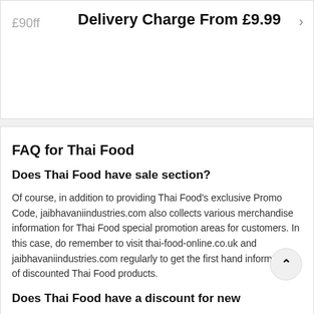£90ff
Delivery Charge From £9.99
FAQ for Thai Food
Does Thai Food have sale section?
Of course, in addition to providing Thai Food's exclusive Promo Code, jaibhavaniindustries.com also collects various merchandise information for Thai Food special promotion areas for customers. In this case, do remember to visit thai-food-online.co.uk and jaibhavaniindustries.com regularly to get the first hand information of discounted Thai Food products.
Does Thai Food have a discount for new